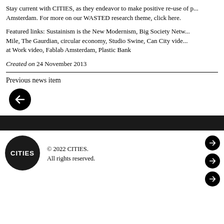Stay current with CITIES, as they endeavor to make positive re-use of p... Amsterdam. For more on our WASTED research theme, click here.
Featured links: Sustainism is the New Modernism, Big Society Netw... Mile, The Gaurdian, circular economy, Studio Swine, Can City vide... at Work video, Fablab Amsterdam, Plastic Bank
Created on 24 November 2013
Previous news item
[Figure (other): Black circle with left-pointing arrow icon]
[Figure (other): Dark horizontal bar divider]
[Figure (logo): CITIES logo - black circle with CITIES text in white]
© 2022 CITIES. All rights reserved.
[Figure (other): Three small black circle right-arrow icons]